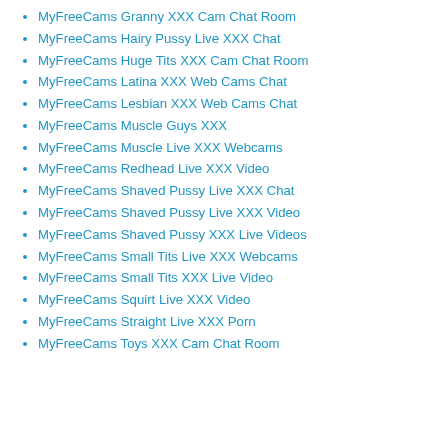MyFreeCams Granny XXX Cam Chat Room
MyFreeCams Hairy Pussy Live XXX Chat
MyFreeCams Huge Tits XXX Cam Chat Room
MyFreeCams Latina XXX Web Cams Chat
MyFreeCams Lesbian XXX Web Cams Chat
MyFreeCams Muscle Guys XXX
MyFreeCams Muscle Live XXX Webcams
MyFreeCams Redhead Live XXX Video
MyFreeCams Shaved Pussy Live XXX Chat
MyFreeCams Shaved Pussy Live XXX Video
MyFreeCams Shaved Pussy XXX Live Videos
MyFreeCams Small Tits Live XXX Webcams
MyFreeCams Small Tits XXX Live Video
MyFreeCams Squirt Live XXX Video
MyFreeCams Straight Live XXX Porn
MyFreeCams Toys XXX Cam Chat Room